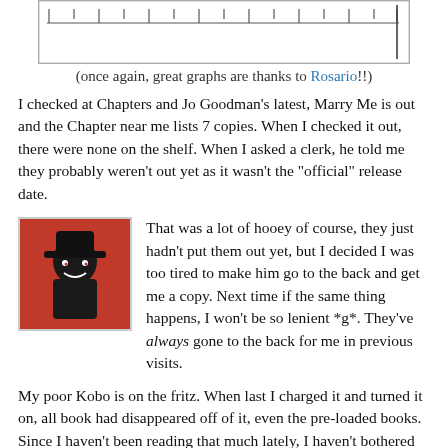[Figure (other): Top portion of a chart/graph, partially cropped, showing tick marks and axis lines]
(once again, great graphs are thanks to Rosario!!)
I checked at Chapters and Jo Goodman's latest, Marry Me is out and the Chapter near me lists 7 copies. When I checked it out, there were none on the shelf. When I asked a clerk, he told me they probably weren't out yet as it wasn't the "official" release date.
[Figure (illustration): Avatar image: cartoon-style illustration with red background, dark character]
That was a lot of hooey of course, they just hadn't put them out yet, but I decided I was too tired to make him go to the back and get me a copy. Next time if the same thing happens, I won't be so lenient *g*. They've always gone to the back for me in previous visits.
My poor Kobo is on the fritz. When last I charged it and turned it on, all book had disappeared off of it, even the pre-loaded books. Since I haven't been reading that much lately, I haven't bothered trying to load them back on. It's going to take greater concentration powers than I seem to have